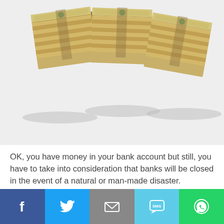[Figure (photo): Three stacks of bundled US dollar bills viewed from above on a white background]
OK, you have money in your bank account but still, you have to take into consideration that banks will be closed in the event of a natural or man-made disaster.
Also, you may not be able to withdraw or transfer money electronically because it is highly likely that there will be no electricity.
[Figure (infographic): Social media sharing bar with Facebook, Twitter, Email, SMS, and WhatsApp buttons]